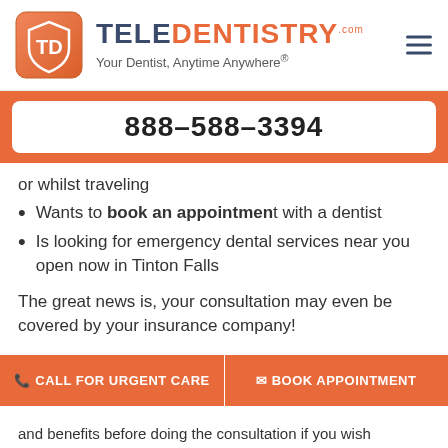[Figure (logo): TeleDentistry logo with orange shield icon and text 'TELEDENTISTRY.com Your Dentist, Anytime Anywhere®']
888-588-3394
or whilst traveling
Wants to book an appointment with a dentist
Is looking for emergency dental services near you open now in Tinton Falls
The great news is, your consultation may even be covered by your insurance company!
CALL FOR URGENT CARE
BOOK APPOINTMENT
and benefits before doing the consultation if you wish